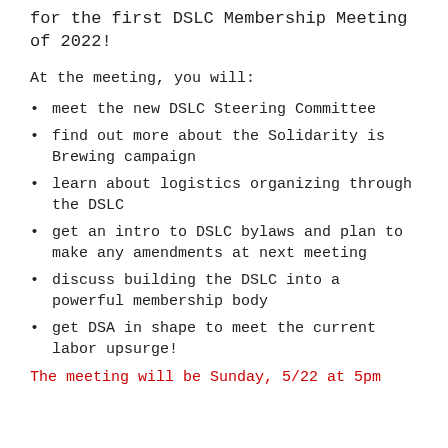for the first DSLC Membership Meeting of 2022!
At the meeting, you will:
meet the new DSLC Steering Committee
find out more about the Solidarity is Brewing campaign
learn about logistics organizing through the DSLC
get an intro to DSLC bylaws and plan to make any amendments at next meeting
discuss building the DSLC into a powerful membership body
get DSA in shape to meet the current labor upsurge!
The meeting will be Sunday, 5/22 at 5pm